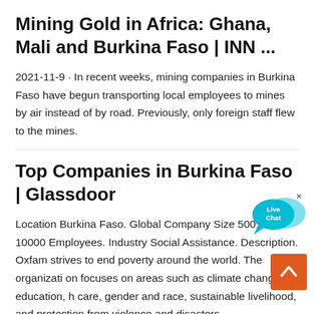Mining Gold in Africa: Ghana, Mali and Burkina Faso | INN ...
2021-11-9 · In recent weeks, mining companies in Burkina Faso have begun transporting local employees to mines by air instead of by road. Previously, only foreign staff flew to the mines.
[Figure (other): Live Chat speech bubble widget in cyan/blue color with 'Live Chat' text and a close (x) button]
Top Companies in Burkina Faso | Glassdoor
Location Burkina Faso. Global Company Size 5001 to 10000 Employees. Industry Social Assistance. Description. Oxfam strives to end poverty around the world. The organization focuses on areas such as climate change, education, health care, gender and race, sustainable livelihood, and protection from violence and disasters.
[Figure (other): Orange scroll-to-top button with upward chevron arrow in bottom right corner]